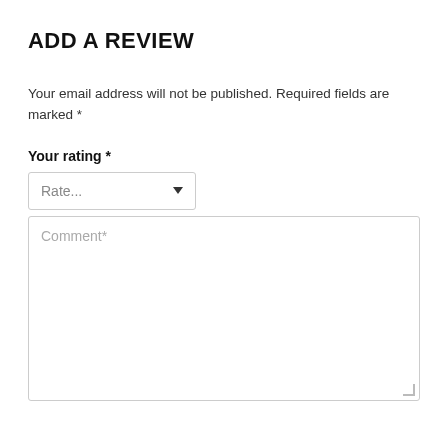ADD A REVIEW
Your email address will not be published. Required fields are marked *
Your rating *
Rate...
Comment*